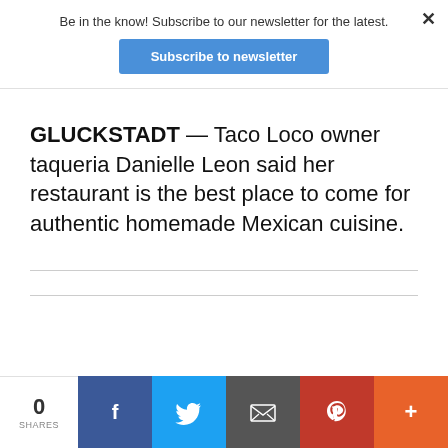Be in the know! Subscribe to our newsletter for the latest.
Subscribe to newsletter
×
GLUCKSTADT — Taco Loco owner taqueria Danielle Leon said her restaurant is the best place to come for authentic homemade Mexican cuisine.
0 SHARES | Facebook | Twitter | Email | Pinterest | More